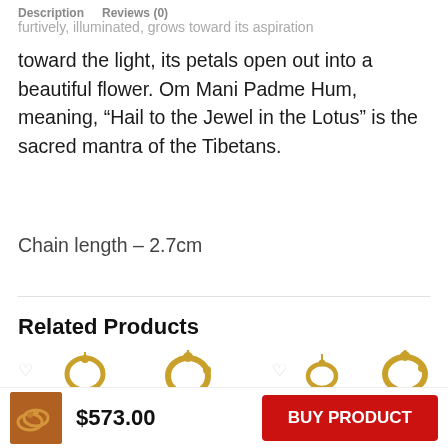Description   Reviews (0)
toward the light, its petals open out into a beautiful flower. Om Mani Padme Hum, meaning, “Hail to the Jewel in the Lotus” is the sacred mantra of the Tibetans.
Chain length – 2.7cm
Related Products
[Figure (photo): Gold hoop earrings on white background]
[Figure (photo): Product thumbnail of earrings on brown/orange surface]
$573.00
BUY PRODUCT